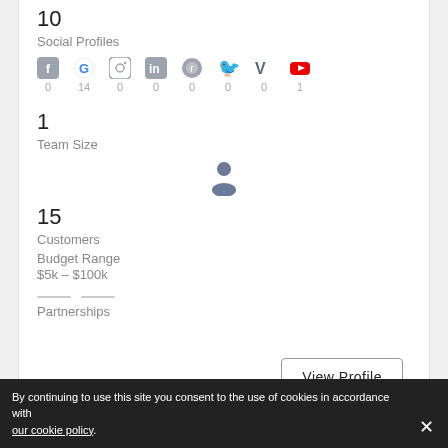10
Social Profiles
[Figure (infographic): Row of social media icons (Facebook, Google, Instagram, LinkedIn, Reddit, Twitter, Vimeo, YouTube) each with a count below: 0, 14, 0, 0, 0, 0, 0, 1]
1
Team Size
[Figure (illustration): Single person/user silhouette icon in blue-gray]
15
Customers
Budget Range
$5k – $100k
Partnerships
View Profile
By continuing to use this site you consent to the use of cookies in accordance with our cookie policy.